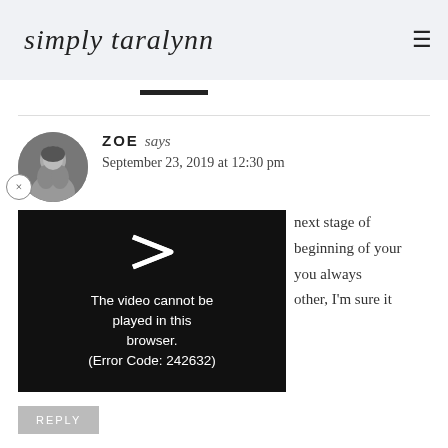simply taralynn
[Figure (photo): Circular black and white avatar photo of a person outdoors]
ZOE says
September 23, 2019 at 12:30 pm
[Figure (screenshot): Video player error overlay: The video cannot be played in this browser. (Error Code: 242632)]
next stage of beginning of your you always other, I'm sure it
REPLY